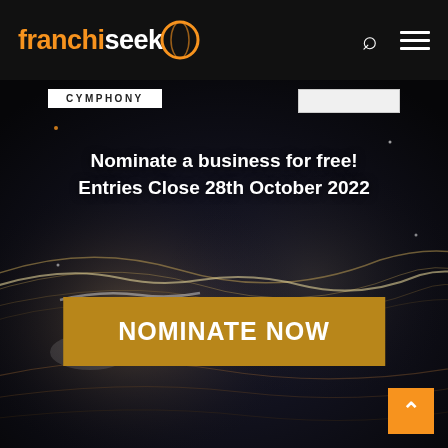franchiseek
CYMPHONY
Nominate a business for free! Entries Close 28th October 2022
[Figure (illustration): Dark cosmic/abstract background with flowing light streaks on a dark surface, suggesting a space or galaxy theme]
NOMINATE NOW
[Figure (other): Orange back-to-top chevron button in bottom right corner]